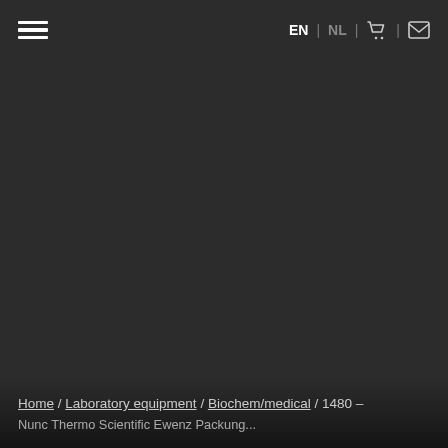≡  EN | NL | 🛒 | ✉
[Figure (photo): Dark background / hero image area, predominantly dark gray/charcoal, appears to be a website screenshot with navigation header and breadcrumb footer]
Home / Laboratory equipment / Biochem/medical / 1480 – Nunc Thermo Scientific Ewenz Packung...